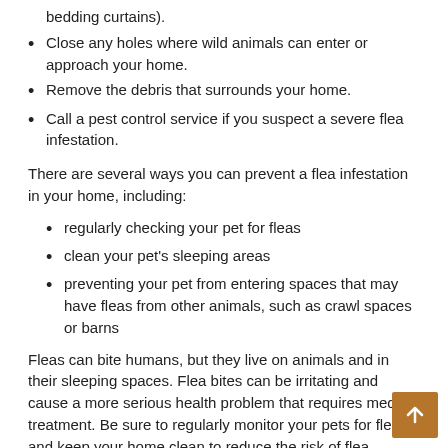bedding curtains).
Close any holes where wild animals can enter or approach your home.
Remove the debris that surrounds your home.
Call a pest control service if you suspect a severe flea infestation.
There are several ways you can prevent a flea infestation in your home, including:
regularly checking your pet for fleas
clean your pet’s sleeping areas
preventing your pet from entering spaces that may have fleas from other animals, such as crawl spaces or barns
Fleas can bite humans, but they live on animals and in their sleeping spaces. Flea bites can be irritating and cause a more serious health problem that requires medical treatment. Be sure to regularly monitor your pets for fleas and keep your home clean to reduce the risk of flea infestation.